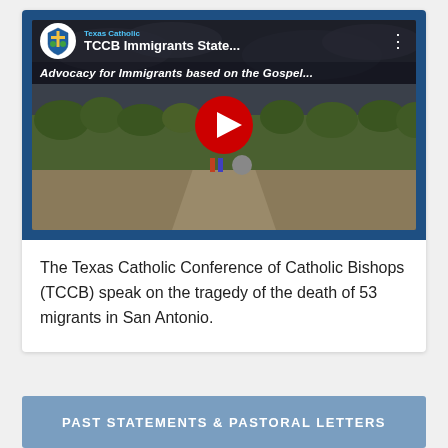[Figure (screenshot): YouTube video thumbnail for 'TCCB Immigrants State...' by Texas Catholic. Subtitle reads 'Advocacy for Immigrants based on the Gospel...' with a red play button over a landscape scene.]
The Texas Catholic Conference of Catholic Bishops (TCCB) speak on the tragedy of the death of 53 migrants in San Antonio.
PAST STATEMENTS & PASTORAL LETTERS